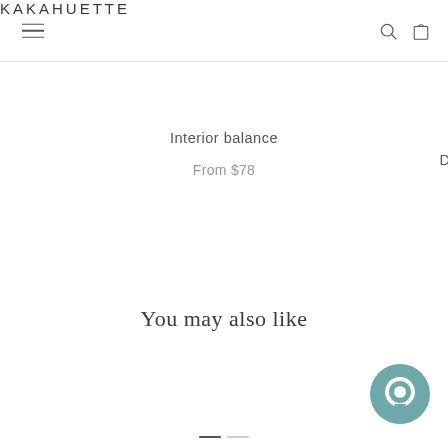KAKAHUETTE
Interior balance
From $78
You may also like
[Figure (other): Chat bubble icon (teal/muted green circle with speech bubble icon)]
[Figure (other): Carousel dots indicator: one dark active dot, one light inactive dot]